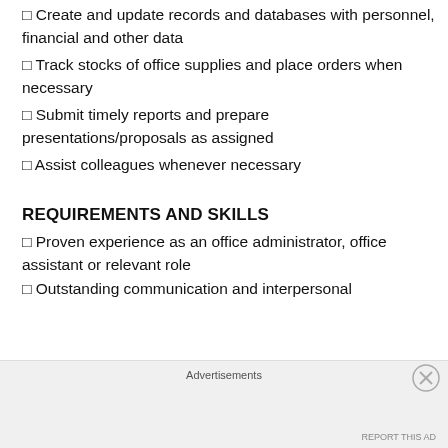Create and update records and databases with personnel, financial and other data
Track stocks of office supplies and place orders when necessary
Submit timely reports and prepare presentations/proposals as assigned
Assist colleagues whenever necessary
REQUIREMENTS AND SKILLS
Proven experience as an office administrator, office assistant or relevant role
Outstanding communication and interpersonal
Advertisements